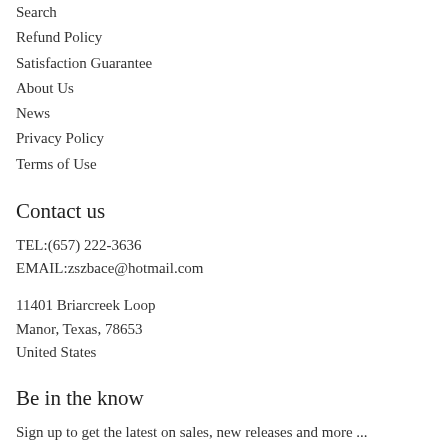Search
Refund Policy
Satisfaction Guarantee
About Us
News
Privacy Policy
Terms of Use
Contact us
TEL:(657) 222-3636
EMAIL:zszbace@hotmail.com
11401 Briarcreek Loop
Manor, Texas, 78653
United States
Be in the know
Sign up to get the latest on sales, new releases and more ...